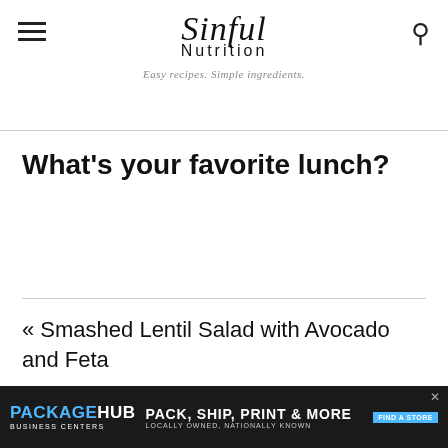Sinful Nutrition — Easy recipes. Simple ingredients.
What's your favorite lunch?
« Smashed Lentil Salad with Avocado and Feta
[Figure (advertisement): PackageHub Business Centers ad: PACK, SHIP, PRINT & MORE — LOCALLY OWNED, NATIONALLY KNOWN — FIND A STORE]